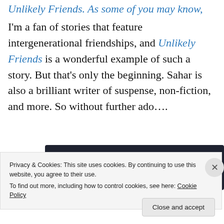Unlikely Friends. As some of you may know, I'm a fan of stories that feature intergenerational friendships, and Unlikely Friends is a wonderful example of such a story. But that's only the beginning. Sahar is also a brilliant writer of suspense, non-fiction, and more. So without further ado….
[Figure (screenshot): Dark banner with a teal 'Learn More' rounded button on the left side]
Privacy & Cookies: This site uses cookies. By continuing to use this website, you agree to their use.
To find out more, including how to control cookies, see here: Cookie Policy
Close and accept